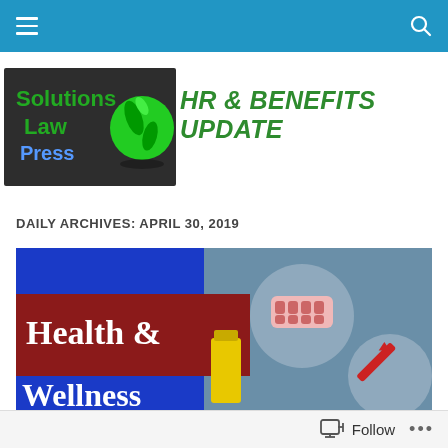Navigation bar with hamburger menu and search icon
[Figure (logo): Solutions Law Press logo with green sphere and dark background]
HR & BENEFITS UPDATE
DAILY ARCHIVES: APRIL 30, 2019
[Figure (illustration): Health & Wellness banner image with pill and syringe graphics on blue/teal background]
Follow